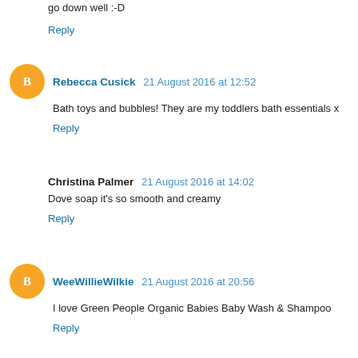go down well :-D
Reply
Rebecca Cusick 21 August 2016 at 12:52
Bath toys and bubbles! They are my toddlers bath essentials x
Reply
Christina Palmer 21 August 2016 at 14:02
Dove soap it's so smooth and creamy
Reply
WeeWillieWilkie 21 August 2016 at 20:56
I love Green People Organic Babies Baby Wash & Shampoo
Reply